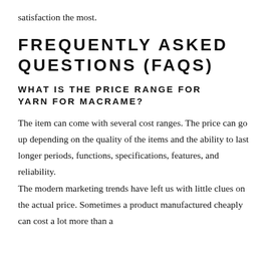satisfaction the most.
FREQUENTLY ASKED QUESTIONS (FAQS)
WHAT IS THE PRICE RANGE FOR YARN FOR MACRAME?
The item can come with several cost ranges. The price can go up depending on the quality of the items and the ability to last longer periods, functions, specifications, features, and reliability.
The modern marketing trends have left us with little clues on the actual price. Sometimes a product manufactured cheaply can cost a lot more than a